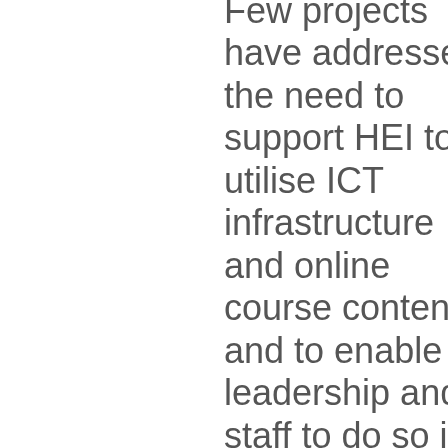Few projects have addressed the need to support HEI to utilise ICT infrastructure and online course content, and to enable leadership and staff to do so in a cross-institutional way (one of the purposes of strategies). Working on this